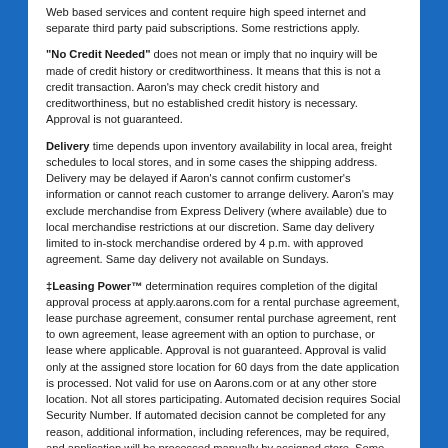Web based services and content require high speed internet and separate third party paid subscriptions. Some restrictions apply.
"No Credit Needed" does not mean or imply that no inquiry will be made of credit history or creditworthiness. It means that this is not a credit transaction. Aaron's may check credit history and creditworthiness, but no established credit history is necessary. Approval is not guaranteed.
Delivery time depends upon inventory availability in local area, freight schedules to local stores, and in some cases the shipping address. Delivery may be delayed if Aaron's cannot confirm customer's information or cannot reach customer to arrange delivery. Aaron's may exclude merchandise from Express Delivery (where available) due to local merchandise restrictions at our discretion. Same day delivery limited to in-stock merchandise ordered by 4 p.m. with approved agreement. Same day delivery not available on Sundays.
‡Leasing Power™ determination requires completion of the digital approval process at apply.aarons.com for a rental purchase agreement, lease purchase agreement, consumer rental purchase agreement, rent to own agreement, lease agreement with an option to purchase, or lease where applicable. Approval is not guaranteed. Approval is valid only at the assigned store location for 60 days from the date application is processed. Not valid for use on Aarons.com or at any other store location. Not all stores participating. Automated decision requires Social Security Number. If automated decision cannot be completed for any reason, additional information, including references, may be required, and application will be processed manually by assigned store. Some